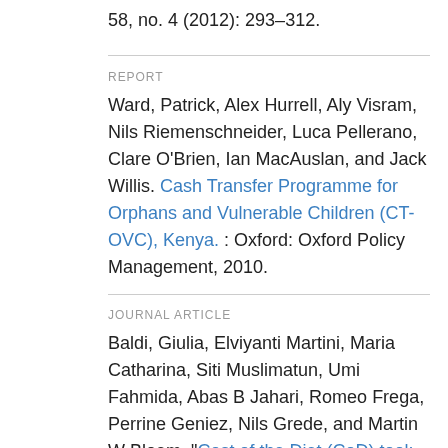58, no. 4 (2012): 293–312.
REPORT
Ward, Patrick, Alex Hurrell, Aly Visram, Nils Riemenschneider, Luca Pellerano, Clare O'Brien, Ian MacAuslan, and Jack Willis. Cash Transfer Programme for Orphans and Vulnerable Children (CT-OVC), Kenya. : Oxford: Oxford Policy Management, 2010.
JOURNAL ARTICLE
Baldi, Giulia, Elviyanti Martini, Maria Catharina, Siti Muslimatun, Umi Fahmida, Abas B Jahari, Romeo Frega, Perrine Geniez, Nils Grede, and Martin W Bloem. "Cost of the Diet (CoD) tool: First results from Indonesia and applications for policy discussion on food and nutrition security."